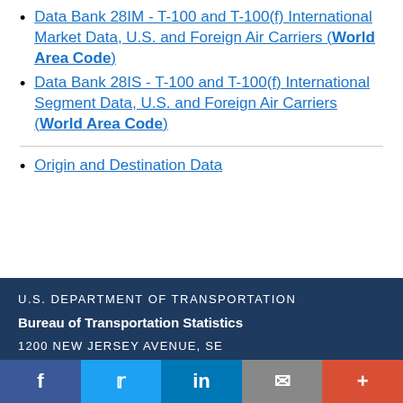Data Bank 28IM - T-100 and T-100(f) International Market Data, U.S. and Foreign Air Carriers (World Area Code)
Data Bank 28IS - T-100 and T-100(f) International Segment Data, U.S. and Foreign Air Carriers (World Area Code)
Origin and Destination Data
U.S. DEPARTMENT OF TRANSPORTATION
Bureau of Transportation Statistics
1200 NEW JERSEY AVENUE, SE
f  t  in  mail  +